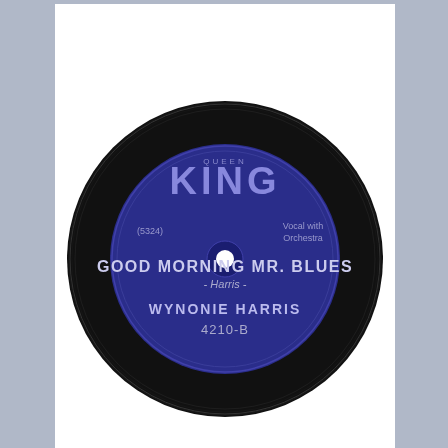[Figure (photo): Photograph of a King Records 78rpm vinyl record label. Blue label reads: KING at top, (5324) on left, Vocal with Orchestra on right, GOOD MORNING MR. BLUES in large text, - Harris - below that, WYNONIE HARRIS, 4210-B at bottom.]
00 Good Morning Mr. Blues (AR2Q).mp3 ▾
[Figure (screenshot): Google Slides file icon (purple document with presentation slide symbol) centered in a light gray preview area with a faint circle behind it.]